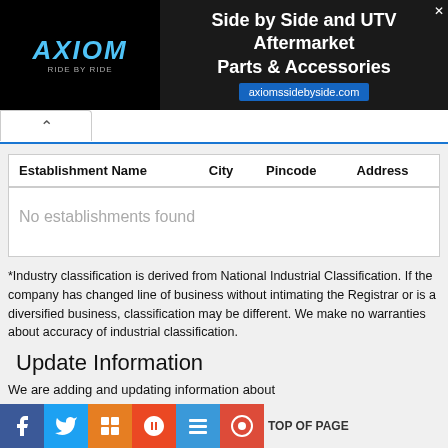[Figure (screenshot): Axiom banner advertisement for Side by Side and UTV Aftermarket Parts & Accessories at axiomssidebyside.com]
| Establishment Name | City | Pincode | Address |
| --- | --- | --- | --- |
| No establishments found |  |  |  |
*Industry classification is derived from National Industrial Classification. If the company has changed line of business without intimating the Registrar or is a diversified business, classification may be different. We make no warranties about accuracy of industrial classification.
Update Information
We are adding and updating information about
TOP OF PAGE